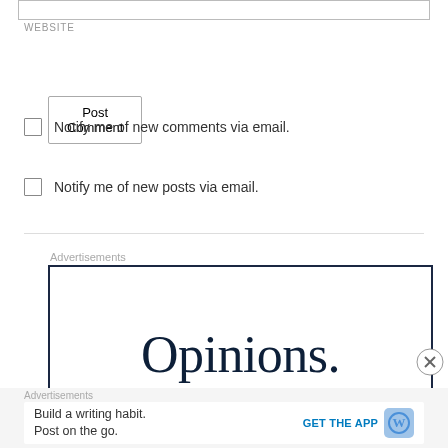WEBSITE
Post Comment
Notify me of new comments via email.
Notify me of new posts via email.
Advertisements
[Figure (other): Advertisement box with large serif text reading 'Opinions.']
Advertisements
Build a writing habit.
Post on the go.
GET THE APP